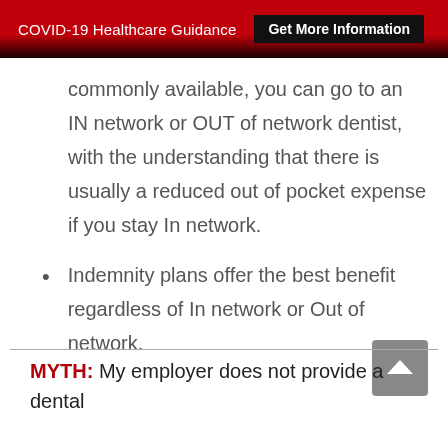COVID-19 Healthcare Guidance  Get More Information
commonly available, you can go to an IN network or OUT of network dentist, with the understanding that there is usually a reduced out of pocket expense if you stay In network.
Indemnity plans offer the best benefit regardless of In network or Out of network.
MYTH: My employer does not provide a dental